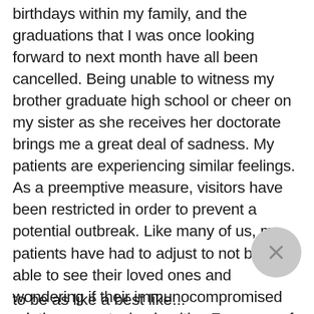birthdays within my family, and the graduations that I was once looking forward to next month have all been cancelled. Being unable to witness my brother graduate high school or cheer on my sister as she receives her doctorate brings me a great deal of sadness. My patients are experiencing similar feelings. As a preemptive measure, visitors have been restricted in order to prevent a potential outbreak. Like many of us, my patients have had to adjust to not being able to see their loved ones and wondering if their immunocompromised relatives are staying healthy. For many of them, visits with their family members help to provide them with motivation while they are hospitalized. Not being able to have this important part of treatment, I fear, could lead to a worsening of symptoms and set some back in their treatment.
to be as like a best like...